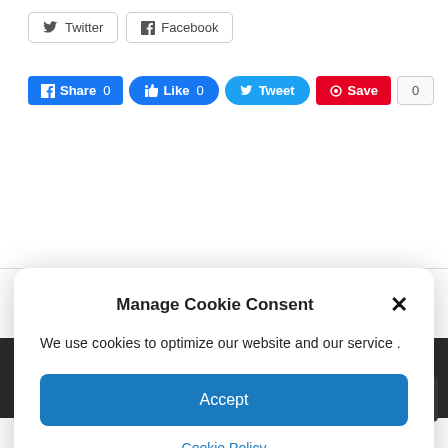[Figure (screenshot): Social share buttons row with Twitter and Facebook outline buttons at top, and filled Share, Like, Tweet, Save buttons with count below]
[Figure (screenshot): Cookie consent modal dialog with title 'Manage Cookie Consent', close X button, body text about cookies, Accept button, and Cookie Policy link]
Leave a Reply
[Figure (screenshot): Back to top arrow button (dark square with double chevron up)]